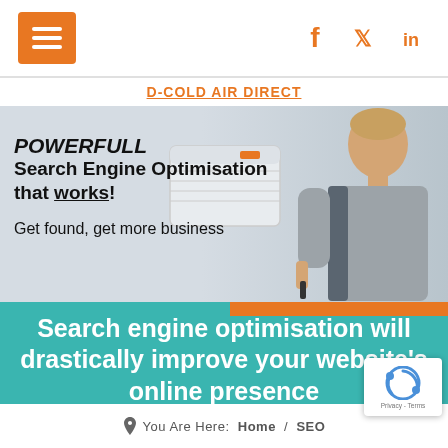Navigation header with hamburger menu and social icons (Facebook, Twitter, LinkedIn)
[Figure (screenshot): Website header bar with orange hamburger menu button on left and orange social media icons (Facebook, Twitter, LinkedIn) on right]
POWERFULL Search Engine Optimisation that works! Get found, get more business
[Figure (photo): Hero banner with man servicing an air conditioning unit, grey background, POWERFULL Search Engine Optimisation that works! headline, Get found get more business subheadline]
Search engine optimisation will drastically improve your website's online presence
You Are Here: Home / SEO